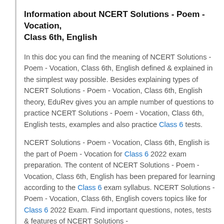Information about NCERT Solutions - Poem - Vocation, Class 6th, English
In this doc you can find the meaning of NCERT Solutions - Poem - Vocation, Class 6th, English defined & explained in the simplest way possible. Besides explaining types of NCERT Solutions - Poem - Vocation, Class 6th, English theory, EduRev gives you an ample number of questions to practice NCERT Solutions - Poem - Vocation, Class 6th, English tests, examples and also practice Class 6 tests.
NCERT Solutions - Poem - Vocation, Class 6th, English is the part of Poem - Vocation for Class 6 2022 exam preparation. The content of NCERT Solutions - Poem - Vocation, Class 6th, English has been prepared for learning according to the Class 6 exam syllabus. NCERT Solutions - Poem - Vocation, Class 6th, English covers topics like for Class 6 2022 Exam. Find important questions, notes, tests & features of NCERT Solutions -